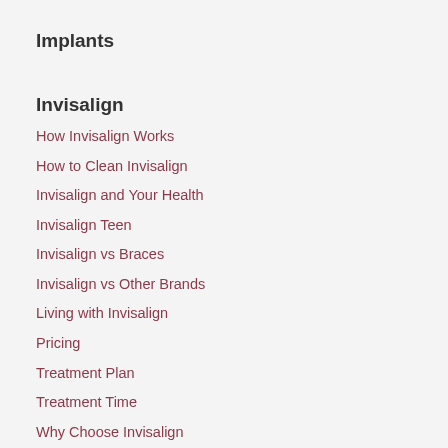Implants
Invisalign
How Invisalign Works
How to Clean Invisalign
Invisalign and Your Health
Invisalign Teen
Invisalign vs Braces
Invisalign vs Other Brands
Living with Invisalign
Pricing
Treatment Plan
Treatment Time
Why Choose Invisalign
Oral Health